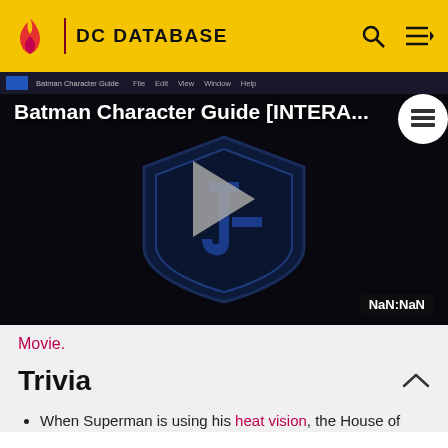DC DATABASE
[Figure (screenshot): Video player showing 'Batman Character Guide [INTERA...' with a play button and DC/Justice League shield logo. Bottom right shows 'NaN:NaN' timestamp.]
Movie.
Trivia
When Superman is using his heat vision, the House of